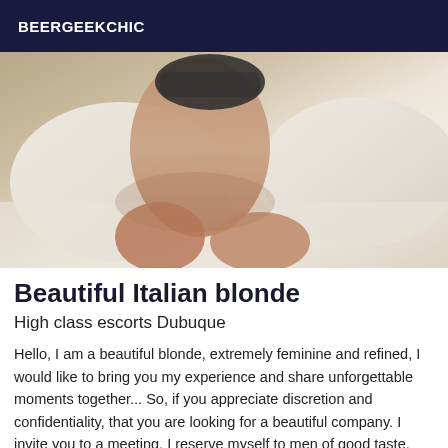BEERGEEKCHIC
[Figure (photo): Photo of a person on a bed with white pillows and bedding, wearing dark underwear, legs visible.]
Beautiful Italian blonde
High class escorts Dubuque
Hello, I am a beautiful blonde, extremely feminine and refined, I would like to bring you my experience and share unforgettable moments together... So, if you appreciate discretion and confidentiality, that you are looking for a beautiful company. I invite you to a meeting. I reserve myself to men of good taste. For a